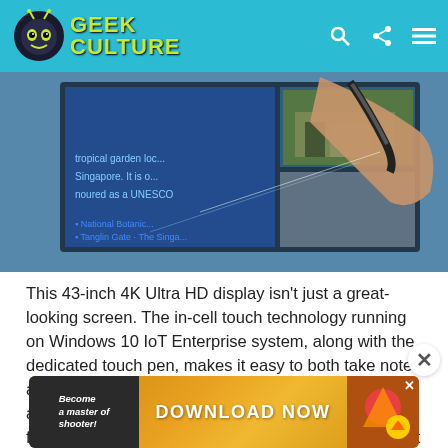[Figure (logo): Geek Culture website logo with green robot/alien icon and yellow-green text on teal header bar]
[Figure (photo): Close-up photo of a hand using a stylus pen on a large 4K touchscreen display showing maps and web content]
This 43-inch 4K Ultra HD display isn't just a great-looking screen. The in-cell touch technology running on Windows 10 IoT Enterprise system, along with the dedicated touch pen, makes it easy to both take notes and share thoughts on a virtual whiteboard when in an online meeting. The touch-based UX mimics the familiar UX of smartphones, thus making it convenient to
[Figure (screenshot): Advertisement banner: Download Now - Become a master of shooter game app]